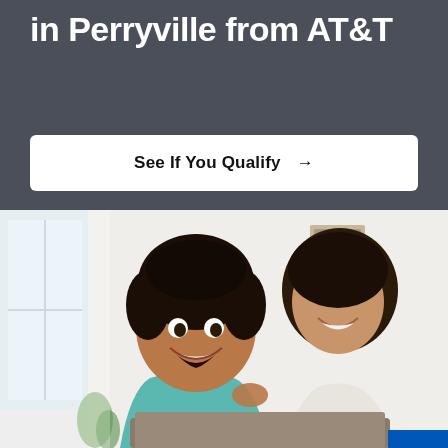in Perryville from AT&T
See If You Qualify →
[Figure (photo): A young boy and a woman (mother) smiling and looking excitedly at a laptop screen together in a bright home setting.]